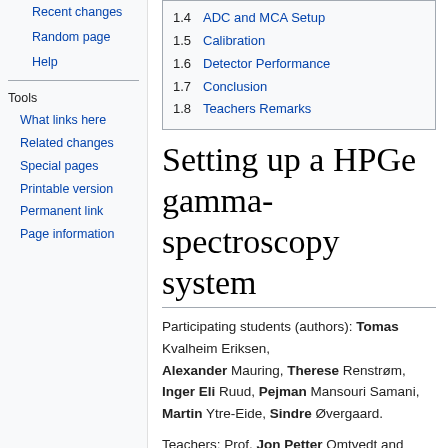Recent changes
Random page
Help
Tools
What links here
Related changes
Special pages
Printable version
Permanent link
Page information
| 1.4 | ADC and MCA Setup |
| 1.5 | Calibration |
| 1.6 | Detector Performance |
| 1.7 | Conclusion |
| 1.8 | Teachers Remarks |
Setting up a HPGe gamma-spectroscopy system
Participating students (authors): Tomas Kvalheim Eriksen, Alexander Mauring, Therese Renstrøm, Inger Eli Ruud, Pejman Mansouri Samani, Martin Ytre-Eide, Sindre Øvergaard.
Teachers: Prof. Jon Petter Omtvedt and